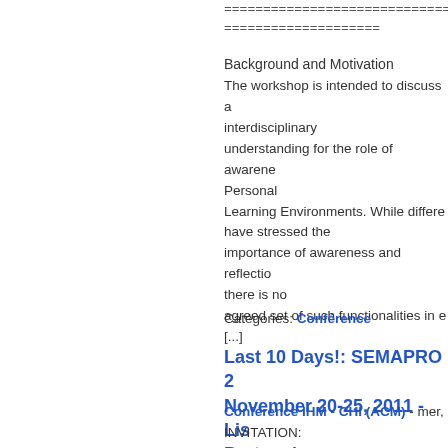==============================================
====================
Background and Motivation
The workshop is intended to discuss a interdisciplinary understanding for the role of awareness Personal Learning Environments. While different have stressed the importance of awareness and reflection there is no agreed set of such functionalities in e [...]
Catégories: Conférence
Last 10 Days!: SEMAPRO 2 November 20-25, 2011 - Lis Portugal
Conférence IHM - CHI (ACM) - mer,
INVITATION:
================
Note that the submission deadline ha July 1st, 2011